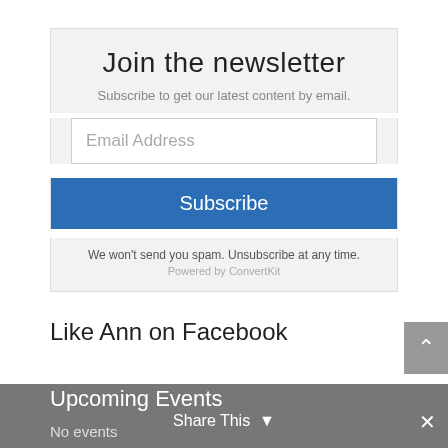Join the newsletter
Subscribe to get our latest content by email.
Email Address
Subscribe
We won't send you spam. Unsubscribe at any time.
Powered by ConvertKit
Like Ann on Facebook
Upcoming Events
No events
Share This